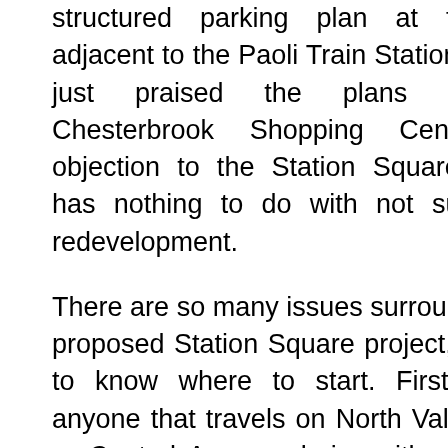structured parking plan at this site adjacent to the Paoli Train Station. Having just praised the plans for the Chesterbrook Shopping Center, my objection to the Station Square project has nothing to do with not supporting redevelopment.
There are so many issues surrounding the proposed Station Square project, it's hard to know where to start. First off, for anyone that travels on North Valley Road or Central Avenue during either morning or afternoon rush hours, you know how much traffic already exists in this area of the township. Certainly, the employees working in the existing Station Square office buildings contribute to the traffic although a certain number